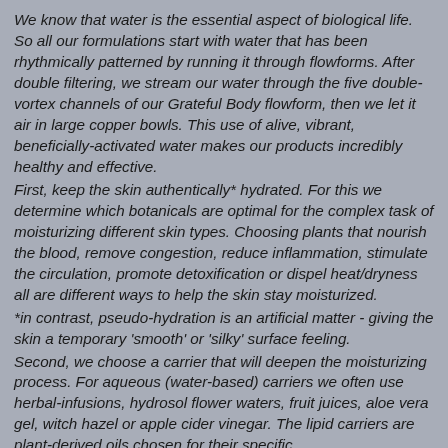We know that water is the essential aspect of biological life. So all our formulations start with water that has been rhythmically patterned by running it through flowforms. After double filtering, we stream our water through the five double-vortex channels of our Grateful Body flowform, then we let it air in large copper bowls. This use of alive, vibrant, beneficially-activated water makes our products incredibly healthy and effective. First, keep the skin authentically* hydrated. For this we determine which botanicals are optimal for the complex task of moisturizing different skin types. Choosing plants that nourish the blood, remove congestion, reduce inflammation, stimulate the circulation, promote detoxification or dispel heat/dryness all are different ways to help the skin stay moisturized. *in contrast, pseudo-hydration is an artificial matter - giving the skin a temporary 'smooth' or 'silky' surface feeling. Second, we choose a carrier that will deepen the moisturizing process. For aqueous (water-based) carriers we often use herbal-infusions, hydrosol flower waters, fruit juices, aloe vera gel, witch hazel or apple cider vinegar. The lipid carriers are plant-derived oils chosen for their specific